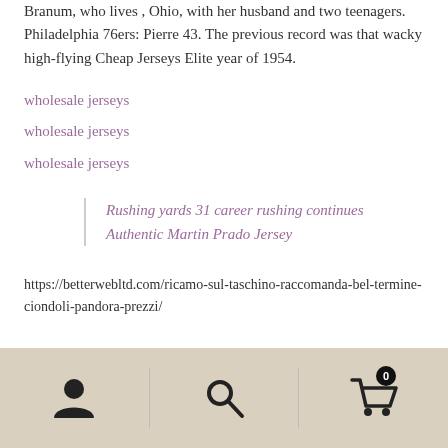Branum, who lives , Ohio, with her husband and two teenagers. Philadelphia 76ers: Pierre 43. The previous record was that wacky high-flying Cheap Jerseys Elite year of 1954.
wholesale jerseys
wholesale jerseys
wholesale jerseys
Rushing yards 31 career rushing continues Authentic Martin Prado Jersey
https://betterwebltd.com/ricamo-sul-taschino-raccomanda-bel-termine-ciondoli-pandora-prezzi/
[Figure (other): Mobile navigation bar with user account icon, search icon, and shopping cart icon with badge showing 0]